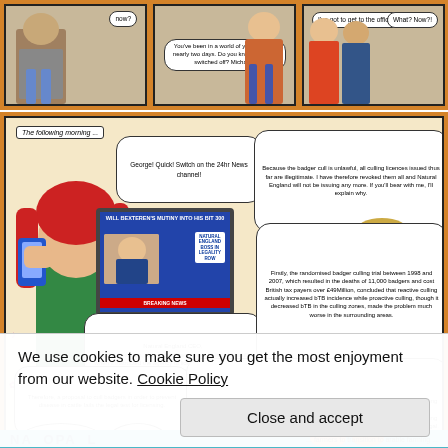[Figure (illustration): Top strip of a comic page showing three panels with characters and speech bubbles on an orange/brown background. Speech bubbles include: 'now?', 'You've been in a world of your own for nearly two days. Do you know why you switched off? Michael?', 'I've got to get to the office!', 'What? Now?!']
[Figure (illustration): Main large comic panel on orange background showing a woman with red hair watching a TV news broadcast. Caption: 'The following morning...' Speech bubbles from TV newsreader: 'George! Quick! Switch on the 24hr News channel!' and 'Natural England CEO, Michael Bexteren, claims the Government acted unlawfully when it instructed the agency to licence a badger cull. We'll now go live to Westminster for his Press Conference.' TV screen shows news report. Large speech bubbles from a blond man with mustache: 'Because the badger cull is unlawful, all culling licences issued thus far are illegitimate. I have therefore revoked them all and Natural England will not be issuing any more. If you'll bear with me, I'll explain why.' and 'Firstly, the randomised badger culling trial between 1998 and 2007, which resulted in the deaths of 11,000 badgers and cost British tax payers over £49Million, concluded that reactive culling actually increased bTB incidence while proactive culling, though it decreased bTB in the culling zones, made the problem much worse in the surrounding areas.' Lower speech bubbles: 'Therefore, a proposal to cull badgers in order to prevent disease in cattle fails the legal test for licensing.' and 'Aren't you worried they'll...' and 'Will not...' and 'Secondly, the UK ratified the Bern Convention in 1982, so any Government action involving the killing of wildlife must, legally, be done as humanely as possible. And yet, this Government has demanded licences to free-shoot badgers without trapping them, resulting in injured badgers and badgers being shot more than once. Not humane, therefore not legal.']
We use cookies to make sure you get the most enjoyment from our website. Cookie Policy
Close and accept
[Figure (illustration): Bottom strip of comic page showing teal/blue background with large stylized text and characters, with speech bubble '... farmers to transition to arable farming ...']